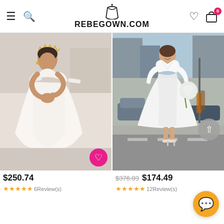REBEGOWN.COM
[Figure (photo): Bride wearing off-shoulder ball gown wedding dress with tiara, standing in a salon]
[Figure (photo): Bride wearing short tea-length wedding dress with 3/4 sleeves and V-neckline, standing on a city street holding a bouquet]
$250.74
$376.03  $174.49
6Review(s)
12Review(s)